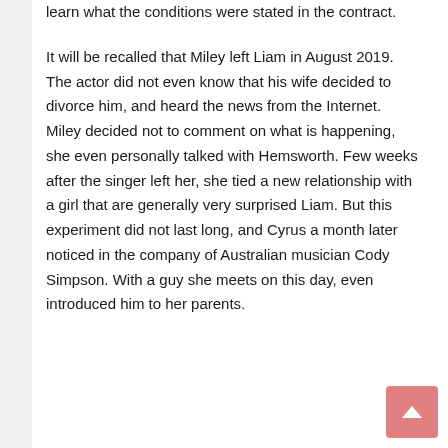learn what the conditions were stated in the contract.
It will be recalled that Miley left Liam in August 2019. The actor did not even know that his wife decided to divorce him, and heard the news from the Internet. Miley decided not to comment on what is happening, she even personally talked with Hemsworth. Few weeks after the singer left her, she tied a new relationship with a girl that are generally very surprised Liam. But this experiment did not last long, and Cyrus a month later noticed in the company of Australian musician Cody Simpson. With a guy she meets on this day, even introduced him to her parents.